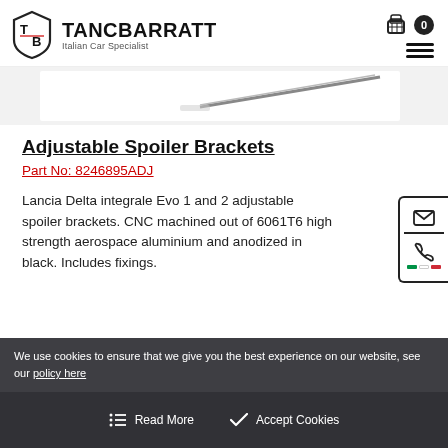TANCBARRATT Italian Car Specialist
[Figure (photo): Partial product image of adjustable spoiler brackets on white/grey background]
Adjustable Spoiler Brackets
Part No: 8246895ADJ
Lancia Delta integrale Evo 1 and 2 adjustable spoiler brackets. CNC machined out of 6061T6 high strength aerospace aluminium and anodized in black. Includes fixings.
We use cookies to ensure that we give you the best experience on our website, see our policy here
Read More   Accept Cookies